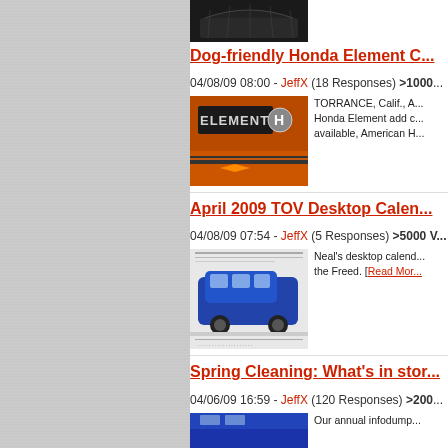[Figure (photo): Partial top thumbnail of a dark car]
Dog-friendly Honda Element C...
04/08/09 08:00 - JeffX (18 Responses) >1000...
[Figure (photo): Orange Honda Element close-up showing badge]
TORRANCE, Calif., A... Honda Element add o... available, American H...
April 2009 TOV Desktop Calen...
04/08/09 07:54 - JeffX (5 Responses) >5000 V...
[Figure (photo): Blue Honda Freed compact MPV calendar image]
Neal's desktop calend... the Freed. [Read Mor...
Spring Cleaning: What's in stor...
04/06/09 16:59 - JeffX (120 Responses) >200...
[Figure (photo): Partial bottom thumbnail of a blue car]
Our annual infodump...